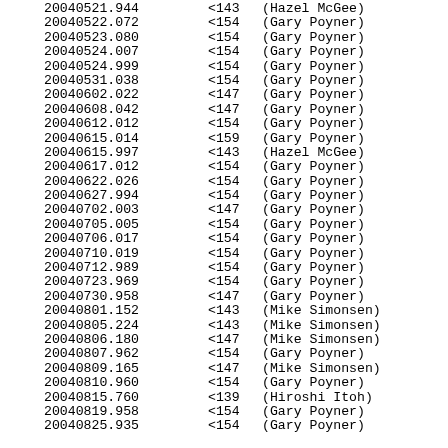| 20040521.944 | <143 | (Hazel McGee) |
| 20040522.072 | <154 | (Gary Poyner) |
| 20040523.080 | <154 | (Gary Poyner) |
| 20040524.007 | <154 | (Gary Poyner) |
| 20040524.999 | <154 | (Gary Poyner) |
| 20040531.038 | <154 | (Gary Poyner) |
| 20040602.022 | <147 | (Gary Poyner) |
| 20040608.042 | <147 | (Gary Poyner) |
| 20040612.012 | <154 | (Gary Poyner) |
| 20040615.014 | <159 | (Gary Poyner) |
| 20040615.997 | <143 | (Hazel McGee) |
| 20040617.012 | <154 | (Gary Poyner) |
| 20040622.026 | <154 | (Gary Poyner) |
| 20040627.994 | <154 | (Gary Poyner) |
| 20040702.003 | <147 | (Gary Poyner) |
| 20040705.005 | <154 | (Gary Poyner) |
| 20040706.017 | <154 | (Gary Poyner) |
| 20040710.019 | <154 | (Gary Poyner) |
| 20040712.989 | <154 | (Gary Poyner) |
| 20040723.969 | <154 | (Gary Poyner) |
| 20040730.958 | <147 | (Gary Poyner) |
| 20040801.152 | <143 | (Mike Simonsen) |
| 20040805.224 | <143 | (Mike Simonsen) |
| 20040806.180 | <147 | (Mike Simonsen) |
| 20040807.962 | <154 | (Gary Poyner) |
| 20040809.165 | <147 | (Mike Simonsen) |
| 20040810.960 | <154 | (Gary Poyner) |
| 20040815.760 | <139 | (Hiroshi Itoh) |
| 20040819.958 | <154 | (Gary Poyner) |
| 20040825.935 | <154 | (Gary Poyner) |